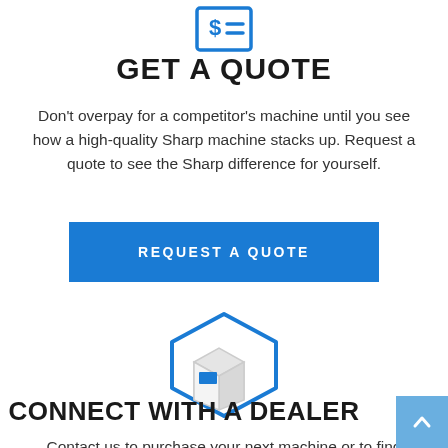[Figure (illustration): Blue icon of a price tag / receipt with dollar sign and dashes at top of page]
GET A QUOTE
Don't overpay for a competitor's machine until you see how a high-quality Sharp machine stacks up. Request a quote to see the Sharp difference for yourself.
[Figure (illustration): Blue button with white text: REQUEST A QUOTE]
[Figure (illustration): Blue hexagon outline icon with a cardboard shipping box inside]
CONNECT WITH A DEALER
Contact us to purchase your next machine or to find